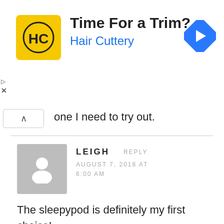[Figure (other): Hair Cuttery advertisement banner with yellow logo showing HC initials and text 'Time For a Trim? Hair Cuttery' with blue navigation arrow icon on right]
one I need to try out.
LEIGH  REPLY
AUGUST 7, 2018 AT 6:00 AM
The sleepypod is definitely my first choice!
GINGER SMITH  REPLY
FEBRUARY 22, 2016 AT 12:02 AM